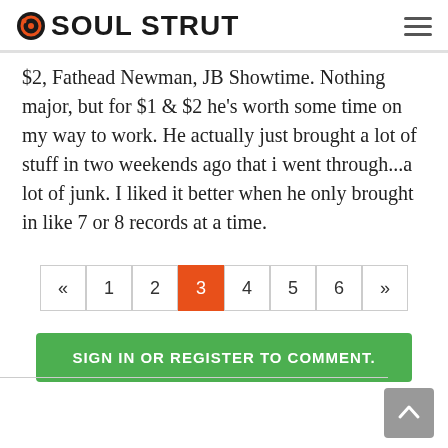SOUL STRUT
$2, Fathead Newman, JB Showtime. Nothing major, but for $1 & $2 he's worth some time on my way to work. He actually just brought a lot of stuff in two weekends ago that i went through...a lot of junk. I liked it better when he only brought in like 7 or 8 records at a time.
Pagination: « 1 2 3 4 5 6 »
SIGN IN OR REGISTER TO COMMENT.